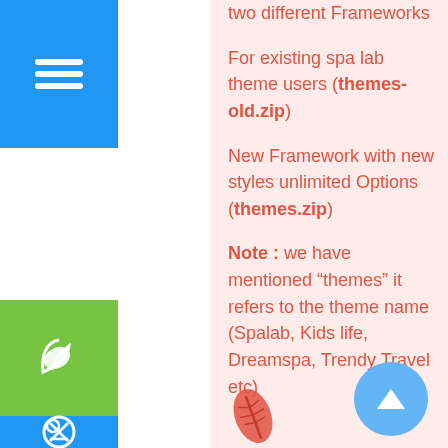two different Frameworks
For existing spa lab theme users (themes-old.zip)
New Framework with new styles unlimited Options (themes.zip)
Note : we have mentioned “themes” it refers to the theme name (Spalab, Kids life, Dreamspa, Trendy Travel etc)